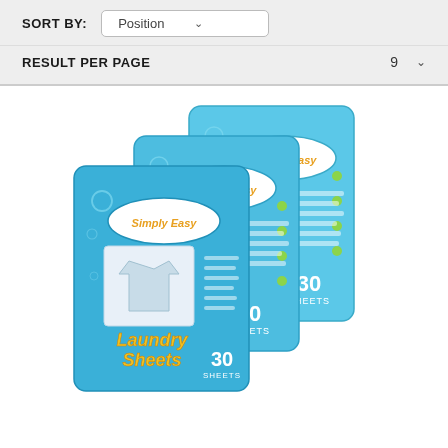SORT BY: Position
RESULT PER PAGE  9
[Figure (photo): Three blue packages of Simply Easy Laundry Sheets, each containing 30 sheets, arranged in an overlapping fan layout on a white background.]